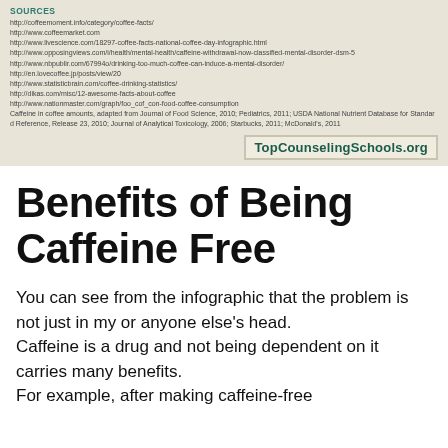[Figure (infographic): Sources section of a coffee/caffeine infographic on a beige background. Lists multiple URLs as sources and credits TopCounselingSchools.org at the bottom right.]
Benefits of Being Caffeine Free
You can see from the infographic that the problem is not just in my or anyone else's head.
Caffeine is a drug and not being dependent on it carries many benefits.
For example, after making caffeine-free...